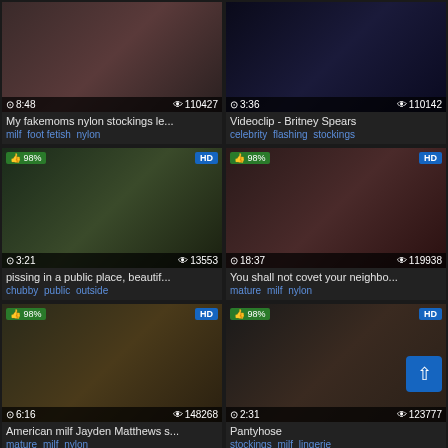[Figure (screenshot): Video thumbnail grid showing adult video content listings with thumbnails, duration, view counts, titles, and tags. Row 1: 'My fakemoms nylon stockings le...' (8:48, 110427 views) milf foot fetish nylon; 'Videoclip - Britney Spears' (3:36, 110142 views) celebrity flashing stockings. Row 2: 'pissing in a public place, beautif...' (3:21, 13553 views, 98% HD) chubby public outside; 'You shall not covet your neighbo...' (18:37, 119938 views, 98% HD) mature milf nylon. Row 3: 'American milf Jayden Matthews s...' (6:16, 148268 views, 98% HD) mature milf nylon; 'Pantyhose' (2:31, 123777 views, 98% HD) stockings milf lingerie. Partial row 4 visible at bottom.]